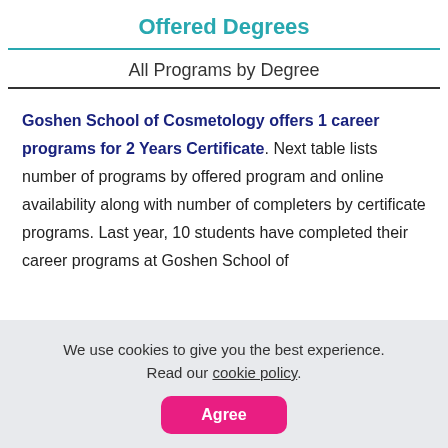Offered Degrees
All Programs by Degree
Goshen School of Cosmetology offers 1 career programs for 2 Years Certificate. Next table lists number of programs by offered program and online availability along with number of completers by certificate programs. Last year, 10 students have completed their career programs at Goshen School of
We use cookies to give you the best experience. Read our cookie policy.